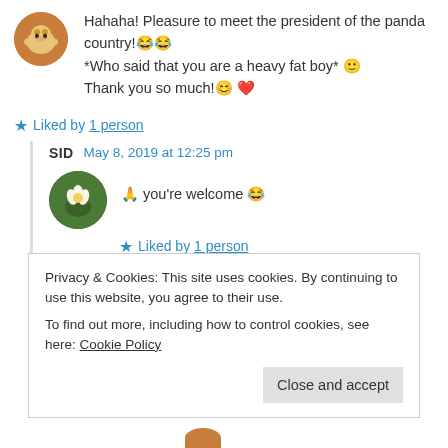Hahaha! Pleasure to meet the president of the panda country!😂😂 *Who said that you are a heavy fat boy* 🙂 Thank you so much!😊❤️
★ Liked by 1 person
SID   May 8, 2019 at 12:25 pm
🙏 you're welcome 😂
★ Liked by 1 person
Privacy & Cookies: This site uses cookies. By continuing to use this website, you agree to their use.
To find out more, including how to control cookies, see here: Cookie Policy